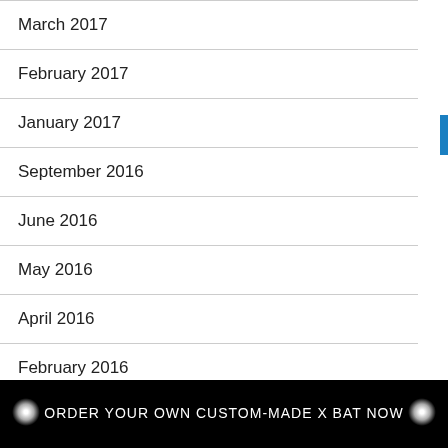March 2017
February 2017
January 2017
September 2016
June 2016
May 2016
April 2016
February 2016
ORDER YOUR OWN CUSTOM-MADE X BAT NOW